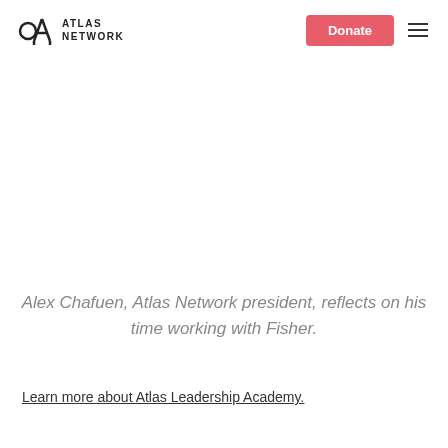ATLAS NETWORK
Alex Chafuen, Atlas Network president, reflects on his time working with Fisher.
Learn more about Atlas Leadership Academy.